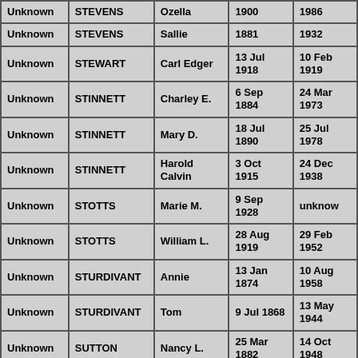| First | Last | Given | Birth | Death |
| --- | --- | --- | --- | --- |
| Unknown | STEVENS | Ozella | 1900 | 1986 |
| Unknown | STEVENS | Sallie | 1881 | 1932 |
| Unknown | STEWART | Carl Edger | 13 Jul 1918 | 10 Feb 1919 |
| Unknown | STINNETT | Charley E. | 6 Sep 1884 | 24 Mar 1973 |
| Unknown | STINNETT | Mary D. | 18 Jul 1890 | 25 Jul 1978 |
| Unknown | STINNETT | Harold Calvin | 3 Oct 1915 | 24 Dec 1938 |
| Unknown | STOTTS | Marie M. | 9 Sep 1928 | unknow |
| Unknown | STOTTS | William L. | 28 Aug 1919 | 29 Feb 1952 |
| Unknown | STURDIVANT | Annie | 13 Jan 1874 | 10 Aug 1958 |
| Unknown | STURDIVANT | Tom | 9 Jul 1868 | 13 May 1944 |
| Unknown | SUTTON | Nancy L. | 25 Mar 1882 | 14 Oct 1948 |